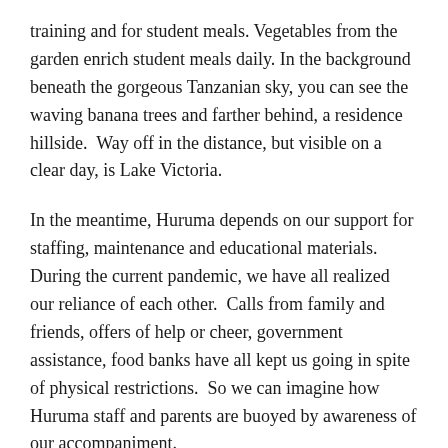training and for student meals. Vegetables from the garden enrich student meals daily. In the background beneath the gorgeous Tanzanian sky, you can see the waving banana trees and farther behind, a residence hillside.  Way off in the distance, but visible on a clear day, is Lake Victoria.
In the meantime, Huruma depends on our support for staffing, maintenance and educational materials.  During the current pandemic, we have all realized our reliance of each other.  Calls from family and friends, offers of help or cheer, government assistance, food banks have all kept us going in spite of physical restrictions.  So we can imagine how Huruma staff and parents are buoyed by awareness of our accompaniment.
I hope to see many of you at our virtual Taste of